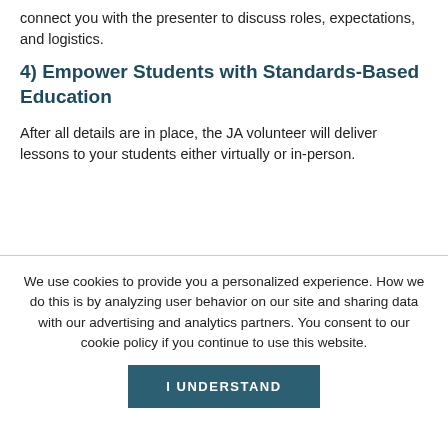connect you with the presenter to discuss roles, expectations, and logistics.
4) Empower Students with Standards-Based Education
After all details are in place, the JA volunteer will deliver lessons to your students either virtually or in-person.
We use cookies to provide you a personalized experience. How we do this is by analyzing user behavior on our site and sharing data with our advertising and analytics partners. You consent to our cookie policy if you continue to use this website.
I UNDERSTAND